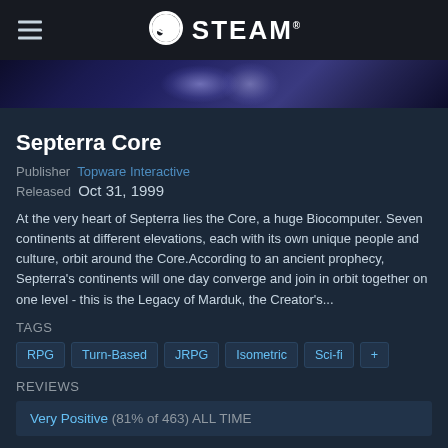STEAM
[Figure (illustration): Game banner image with blue/purple nebula background for Septerra Core]
Septerra Core
Publisher Topware Interactive
Released Oct 31, 1999
At the very heart of Septerra lies the Core, a huge Biocomputer. Seven continents at different elevations, each with its own unique people and culture, orbit around the Core.According to an ancient prophecy, Septerra's continents will one day converge and join in orbit together on one level - this is the Legacy of Marduk, the Creator's...
TAGS
RPG
Turn-Based
JRPG
Isometric
Sci-fi
+
REVIEWS
Very Positive (81% of 463) ALL TIME